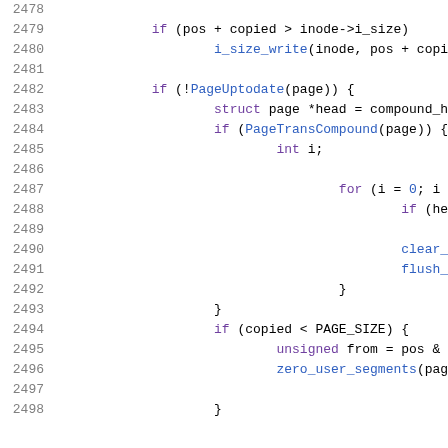Source code listing, lines 2478-2498, C kernel code